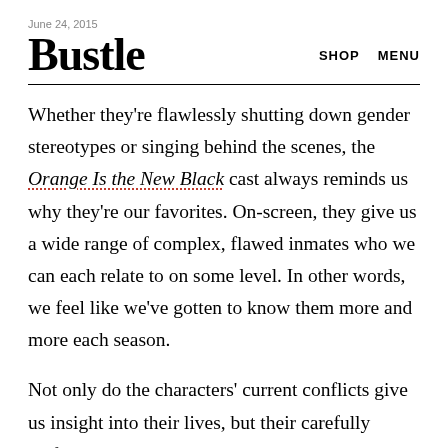June 24, 2015
Bustle
Whether they're flawlessly shutting down gender stereotypes or singing behind the scenes, the Orange Is the New Black cast always reminds us why they're our favorites. On-screen, they give us a wide range of complex, flawed inmates who we can each relate to on some level. In other words, we feel like we've gotten to know them more and more each season.
Not only do the characters' current conflicts give us insight into their lives, but their carefully crafted backstories help us understand how they went from being civilians to incarcerated criminals. Often flashbacks reveal the inmates' personalities, showing